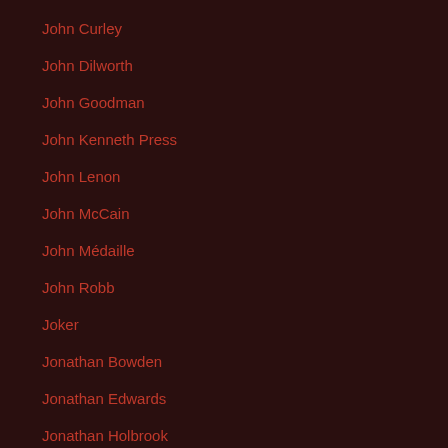John Curley
John Dilworth
John Goodman
John Kenneth Press
John Lenon
John McCain
John Médaille
John Robb
Joker
Jonathan Bowden
Jonathan Edwards
Jonathan Holbrook
Jordan Peterson
Jose Luis Feliciano
Joseph Dobrian